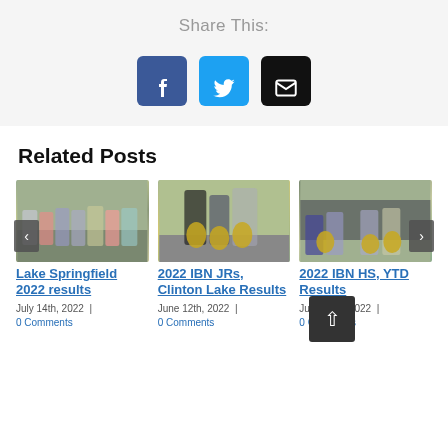Share This:
[Figure (infographic): Three social share buttons: Facebook (blue), Twitter (light blue), Email (black)]
Related Posts
[Figure (photo): Group of children standing in front of a building, Lake Springfield fishing event]
Lake Springfield 2022 results
July 14th, 2022  |  0 Comments
[Figure (photo): Children holding large fish, 2022 IBN JRs Clinton Lake event]
2022 IBN JRs, Clinton Lake Results
June 12th, 2022  |  0 Comments
[Figure (photo): Children holding fish in front of a truck, 2022 IBN HS YTD Results]
2022 IBN HS, YTD Results
June 11th, 2022  |  0 Comments